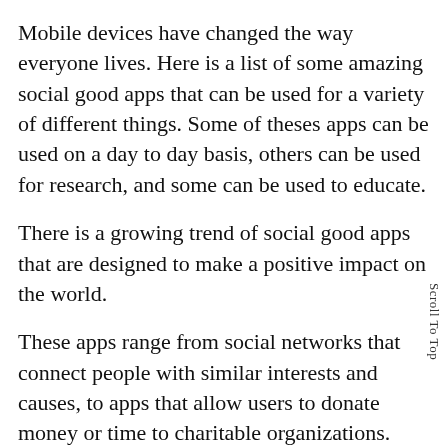Mobile devices have changed the way everyone lives. Here is a list of some amazing social good apps that can be used for a variety of different things. Some of theses apps can be used on a day to day basis, others can be used for research, and some can be used to educate.
There is a growing trend of social good apps that are designed to make a positive impact on the world.
These apps range from social networks that connect people with similar interests and causes, to apps that allow users to donate money or time to charitable organizations.
Some social good apps even allow users to